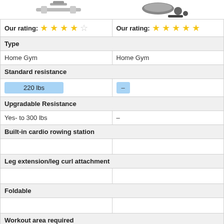[Figure (illustration): Two home gym product images at the top: left shows a barbell/pull-up bar attachment, right shows cable attachments/accessories]
|  |  |
| --- | --- |
| Our rating: ★★★★☆ | Our rating: ★★★★½ |
| Type |  |
| Home Gym | Home Gym |
| Standard resistance |  |
| 220 lbs | – |
| Upgradable Resistance |  |
| Yes- to 300 lbs | – |
| Built-in cardio rowing station |  |
|  |  |
| Leg extension/leg curl attachment |  |
|  |  |
| Foldable |  |
|  |  |
| Workout area required |  |
| L 128% x W 94" x H 83" |  |